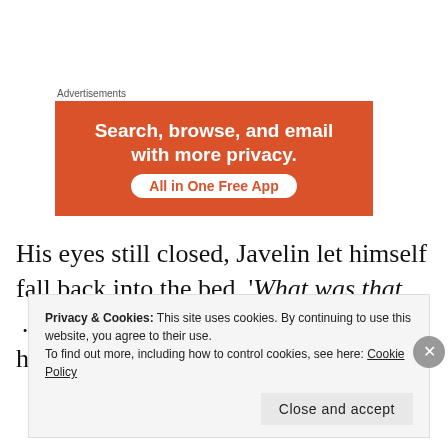Advertisements
[Figure (infographic): Orange advertisement banner reading 'Search, browse, and email with more privacy. All in One Free App']
His eyes still closed, Javelin let himself fall back into the bed. 'What was that … dream?' he wondered. still muddle-headed. 'It felt so real.'
Privacy & Cookies: This site uses cookies. By continuing to use this website, you agree to their use.
To find out more, including how to control cookies, see here: Cookie Policy
Close and accept